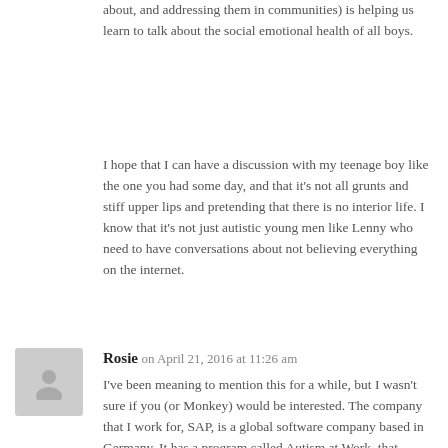about, and addressing them in communities) is helping us learn to talk about the social emotional health of all boys.
I hope that I can have a discussion with my teenage boy like the one you had some day, and that it's not all grunts and stiff upper lips and pretending that there is no interior life. I know that it's not just autistic young men like Lenny who need to have conversations about not believing everything on the internet.
Rosie on April 21, 2016 at 11:26 am
I've been meaning to mention this for a while, but I wasn't sure if you (or Monkey) would be interested. The company that I work for, SAP, is a global software company based in Germany. It has a program called Autism at Work, that actively